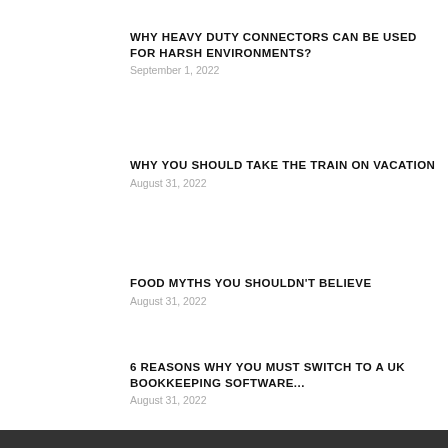WHY HEAVY DUTY CONNECTORS CAN BE USED FOR HARSH ENVIRONMENTS?
September 1, 2022
WHY YOU SHOULD TAKE THE TRAIN ON VACATION
August 31, 2022
FOOD MYTHS YOU SHOULDN'T BELIEVE
August 31, 2022
6 REASONS WHY YOU MUST SWITCH TO A UK BOOKKEEPING SOFTWARE...
August 31, 2022